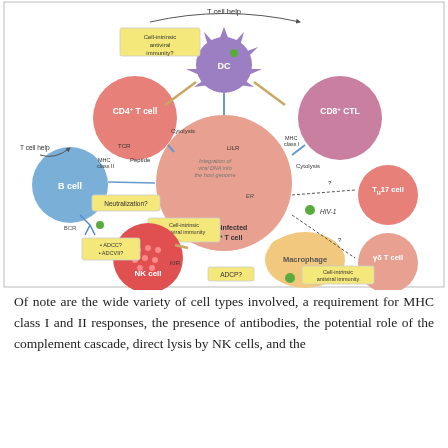[Figure (illustration): Immunology diagram showing HIV-1-infected CD4+ T cell at center surrounded by immune cells: DC (dendritic cell) at top with 'Cell-intrinsic antiviral immunity?' label, CD4+ T cell upper left, CD8+ CTL upper right, B cell left with BCR and 'Neutralization?' label, NK cell lower left with 'ADCC? ADCVII?' labels, Macrophage lower right with 'Cell-intrinsic antiviral immunity' label, TH17 T cell right, γδ T cell lower right. Central infected cell shows 'Integration of viral DNA into the host genome' and 'Cell-intrinsic antiviral immunity'. Connections show Cytolysis, MHC class I and II, TCR, Peptide, LILR, KIR, ADCP?, and T cell help arrows. HIV-1 virions shown as green dots.]
Of note are the wide variety of cell types involved, a requirement for MHC class I and II responses, the presence of antibodies, the potential role of the complement cascade, direct lysis by NK cells, and the